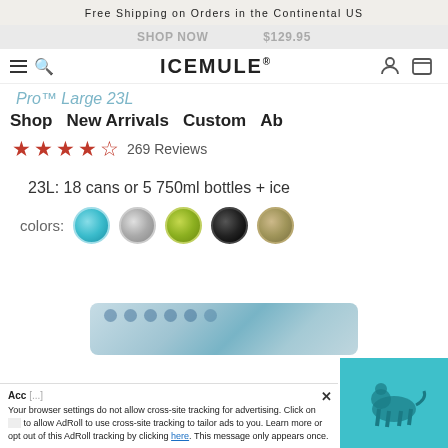Free Shipping on Orders in the Continental US
SHOP NOW   $129.95
ICEMULE
Pro™ Large 23L
Shop   New Arrivals   Custom   Ab
★★★★★ 269 Reviews
23L: 18 cans or 5 750ml bottles + ice
colors:
[Figure (photo): Product image of ICEMULE Pro Large 23L cooler in blue camo pattern]
Acc[ept]  ×
Your browser settings do not allow cross-site tracking for advertising. Click on [__] to allow AdRoll to use cross-site tracking to tailor ads to you. Learn more or opt out of this AdRoll tracking by clicking here. This message only appears once.